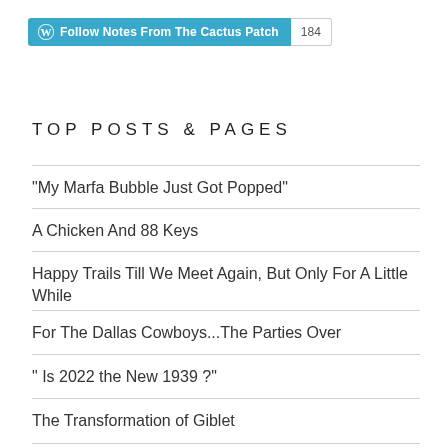[Figure (other): WordPress Follow button for 'Notes From The Cactus Patch' with follower count badge showing 184]
TOP POSTS & PAGES
"My Marfa Bubble Just Got Popped"
A Chicken And 88 Keys
Happy Trails Till We Meet Again, But Only For A Little While
For The Dallas Cowboys...The Parties Over
" Is 2022 the New 1939 ?"
The Transformation of Giblet